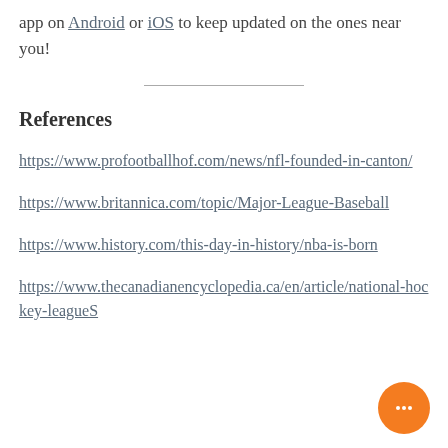app on Android or iOS to keep updated on the ones near you!
References
https://www.profootballhof.com/news/nfl-founded-in-canton/
https://www.britannica.com/topic/Major-League-Baseball
https://www.history.com/this-day-in-history/nba-is-born
https://www.thecanadianencyclopedia.ca/en/article/national-hockey-leagueS